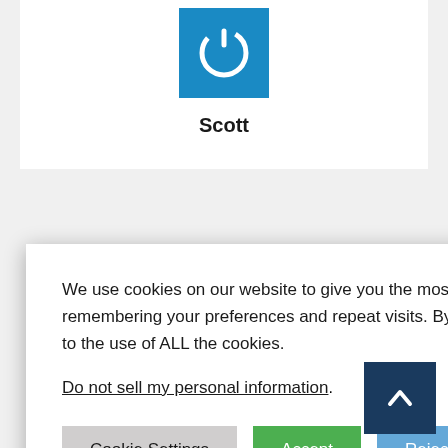[Figure (logo): Blue square logo with white power/on button icon]
Scott
currently a schools.
We use cookies on our website to give you the most relevant experience by remembering your preferences and repeat visits. By clicking “Accept”, you consent to the use of ALL the cookies.
Do not sell my personal information.
ous. Please, by one you know rget going to Wikipedia or ic ability,” just nts could only be made by someone who clearly lacks even the slightest clue about what it takes to diagnose a patient with only vague constellation of symptoms.